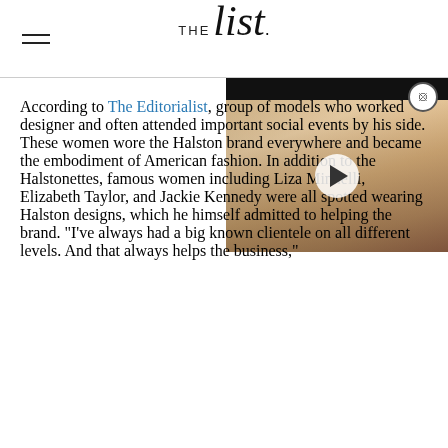THE list.
[Figure (photo): Video thumbnail showing a blonde woman smiling, with a play button overlay. Black bar at top.]
According to The Editorialist, group of models who worked designer and often attended important social events by his side. These women wore the Halston brand everywhere and became the embodiment of American fashion. In addition to the Halstonettes, famous women including Liza Minnelli, Elizabeth Taylor, and Jackie Kennedy were all spotted wearing Halston designs, which he himself admitted to helping the brand. "I've always had a big known clientele on all different levels. And that always helps the business,"